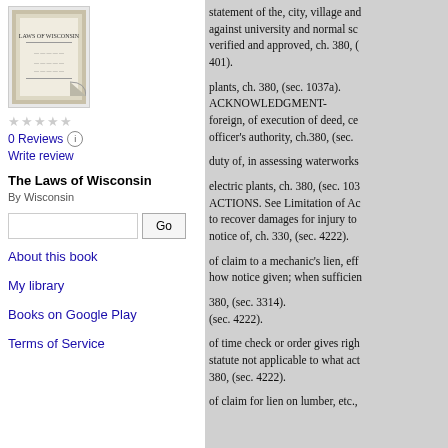[Figure (illustration): Book cover thumbnail for 'The Laws of Wisconsin']
0 Reviews
Write review
The Laws of Wisconsin
By Wisconsin
About this book
My library
Books on Google Play
Terms of Service
statement of the, city, village and... against university and normal sc... verified and approved, ch. 380, (... 401).

plants, ch. 380, (sec. 1037a).
ACKNOWLEDGMENT-
foreign, of execution of deed, ce... officer's authority, ch.380, (sec. ...

duty of, in assessing waterworks...

electric plants, ch. 380, (sec. 103...
ACTIONS. See Limitation of Ac...
to recover damages for injury to...
notice of, ch. 330, (sec. 4222).

of claim to a mechanic's lien, eff...
how notice given; when sufficien...

380, (sec. 3314).
(sec. 4222).

of time check or order gives righ...
statute not applicable to what act...
380, (sec. 4222).

of claim for lien on lumber, etc.,